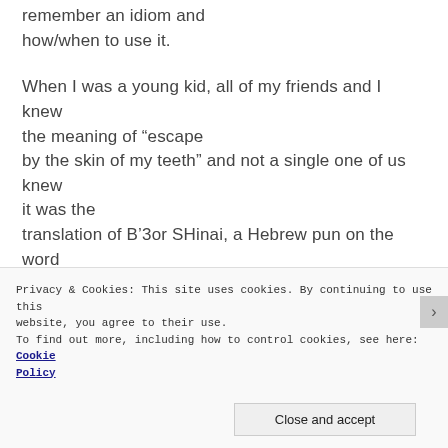remember an idiom and how/when to use it.
When I was a young kid, all of my friends and I knew the meaning of “escape by the skin of my teeth” and not a single one of us knew it was the translation of B’3or SHinai, a Hebrew pun on the word B’QoSHi (which means barely, hardly, with difficulty) in the biblical book of Job 19:20.
The majority of idioms are transliterated (not
Privacy & Cookies: This site uses cookies. By continuing to use this website, you agree to their use. To find out more, including how to control cookies, see here: Cookie Policy
Close and accept